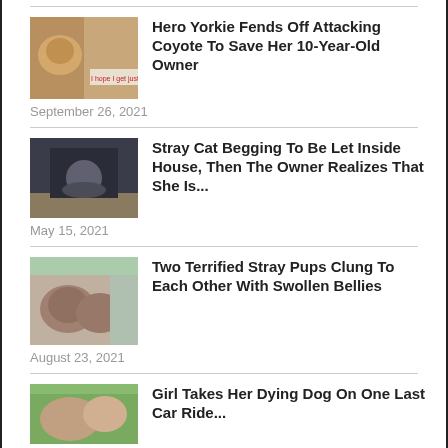[Figure (photo): Thumbnail image of a Yorkie dog]
Hero Yorkie Fends Off Attacking Coyote To Save Her 10-Year-Old Owner
September 26, 2021
[Figure (photo): Thumbnail image of a stray cat at a door]
Stray Cat Begging To Be Let Inside House, Then The Owner Realizes That She Is...
May 15, 2021
[Figure (photo): Thumbnail image of two stray pups]
Two Terrified Stray Pups Clung To Each Other With Swollen Bellies
August 23, 2021
[Figure (photo): Thumbnail image of a dog with a girl]
Girl Takes Her Dying Dog On One Last Car Ride...